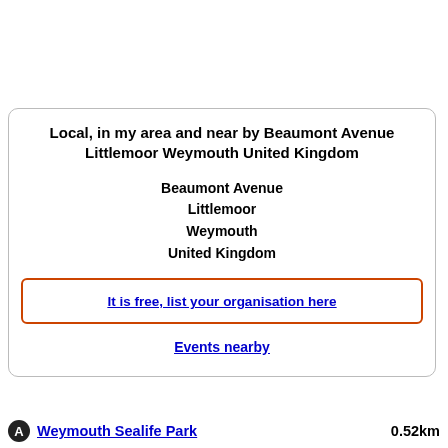Local, in my area and near by Beaumont Avenue Littlemoor Weymouth United Kingdom
Beaumont Avenue
Littlemoor
Weymouth
United Kingdom
It is free, list your organisation here
Events nearby
Weymouth Sealife Park   0.52km